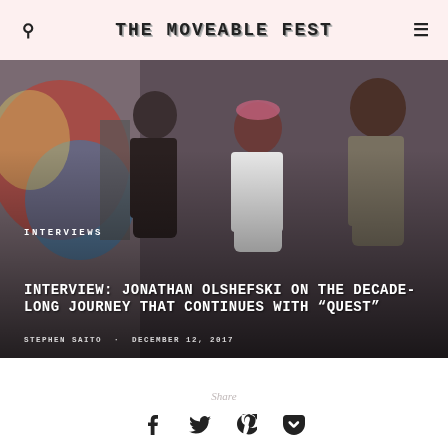THE MOVEABLE FEST
[Figure (photo): Three people standing in front of a graffiti wall. Left: young person in black shirt. Center: woman with colorful headband in white shirt. Right: man in sleeveless shirt smiling.]
INTERVIEWS
INTERVIEW: JONATHAN OLSHEFSKI ON THE DECADE-LONG JOURNEY THAT CONTINUES WITH "QUEST"
STEPHEN SAITO · DECEMBER 12, 2017
Share